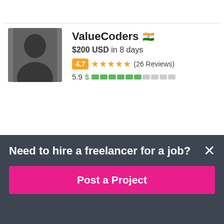[Figure (photo): Profile photo of ValueCoders user — person in dark clothing]
ValueCoders 🇮🇳
$200 USD in 8 days
4.7 ★★★★★ (26 Reviews)
5.9 $ ████████
[Figure (logo): WordPress Passionate logo — dark blue background with WordPress swirl and text 'rdPress assionate']
wppassionate 🇮🇳
Need to hire a freelancer for a job?
Post a Project